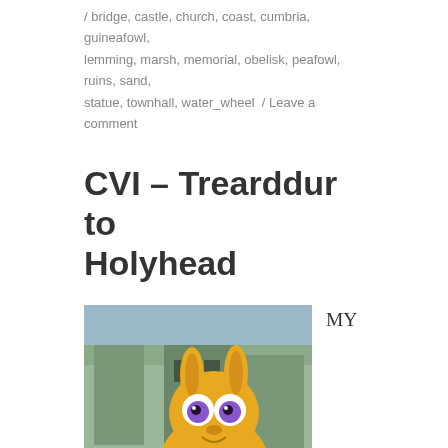/ bridge, castle, church, coast, cumbria, guineafowl, lemming, marsh, memorial, obelisk, peafowl, ruins, sand, statue, townhall, water_wheel / Leave a comment
CVI – Trearddur to Holyhead
[Figure (illustration): A composite image showing a castle or stone building in the background with a cartoon yellow rabbit-like creature with large purple eyes overlaid in the foreground. The label 'CVI' appears in the bottom left corner on a yellow-green background.]
MY LAST walk was about a month ago (as I write this) but that feels like forever. I tend not to go walking in August on account of the heat — well, the rain is warmer anyway — and of the near-impossibility of finding accommodation during the peak holiday season.  With this in mind, I was keen to get one more walk in before I ran out of July